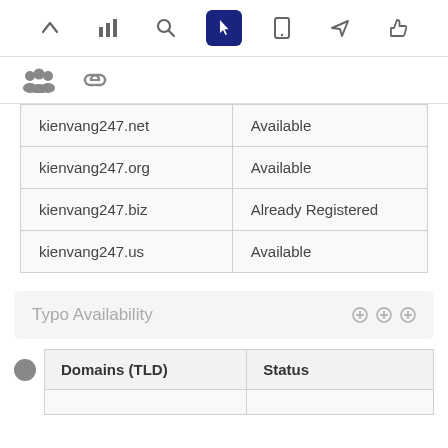Navigation toolbar with icons: up arrow, bar chart, search, pointer (active), mobile, send, thumbs up
Secondary icons: group/people, link
| kienvang247.net | Available |
| kienvang247.org | Available |
| kienvang247.biz | Already Registered |
| kienvang247.us | Available |
Typo Availability
| Domains (TLD) | Status |
| --- | --- |